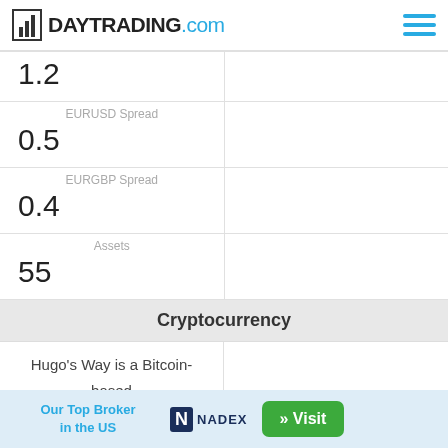DAYTRADING.com
| Value | Label |
| --- | --- |
| 1.2 |  |
| 0.5 | EURUSD Spread |
| 0.4 | EURGBP Spread |
| 55 | Assets |
Cryptocurrency
Hugo's Way is a Bitcoin-based crypto exchange and CFD broker with a wide range of major and minor cryptocurrency
Our Top Broker in the US  NADEX  » Visit